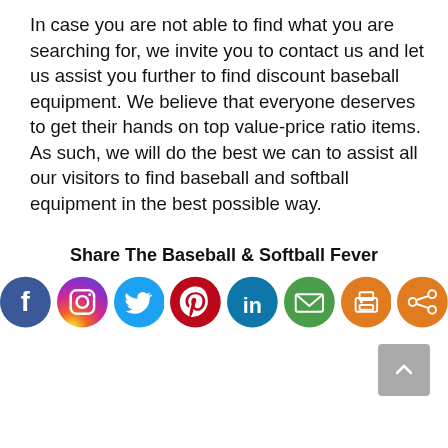In case you are not able to find what you are searching for, we invite you to contact us and let us assist you further to find discount baseball equipment. We believe that everyone deserves to get their hands on top value-price ratio items. As such, we will do the best we can to assist all our visitors to find baseball and softball equipment in the best possible way.
Share The Baseball & Softball Fever
[Figure (infographic): Social media sharing icons: Facebook (blue), Instagram (gradient purple/orange), Twitter (light blue), Pinterest (red), LinkedIn (teal/blue), Email (green), Print (orange), Share (orange)]